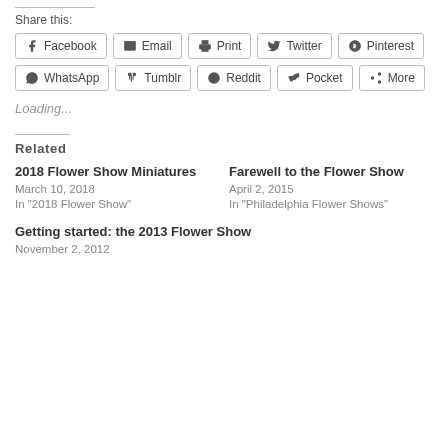Share this:
Facebook
Email
Print
Twitter
Pinterest
WhatsApp
Tumblr
Reddit
Pocket
More
Loading...
Related
2018 Flower Show Miniatures
March 10, 2018
In "2018 Flower Show"
Farewell to the Flower Show
April 2, 2015
In "Philadelphia Flower Shows"
Getting started: the 2013 Flower Show
November 2, 2012